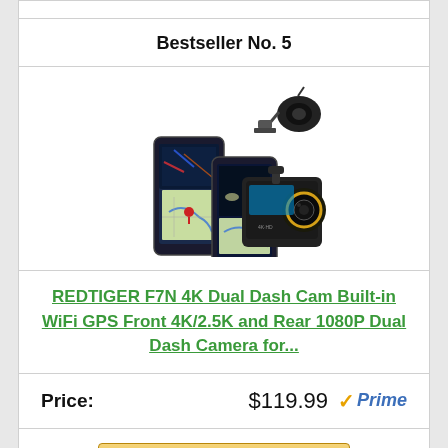Bestseller No. 5
[Figure (photo): Product photo of REDTIGER F7N 4K Dual Dash Cam with smartphones showing maps and a rear camera module]
REDTIGER F7N 4K Dual Dash Cam Built-in WiFi GPS Front 4K/2.5K and Rear 1080P Dual Dash Camera for...
Price: $119.99 Prime
Buy On Amazon